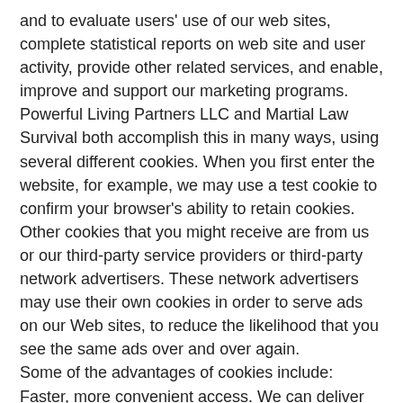and to evaluate users' use of our web sites, complete statistical reports on web site and user activity, provide other related services, and enable, improve and support our marketing programs.
Powerful Living Partners LLC and Martial Law Survival both accomplish this in many ways, using several different cookies. When you first enter the website, for example, we may use a test cookie to confirm your browser's ability to retain cookies. Other cookies that you might receive are from us or our third-party service providers or third-party network advertisers. These network advertisers may use their own cookies in order to serve ads on our Web sites, to reduce the likelihood that you see the same ads over and over again.
Some of the advantages of cookies include:
Faster, more convenient access. We can deliver customized information and store your settings (such as preferences and account information) more efficiently.
Better information. Powerful Living Partners LLC wants to provide features and services in which you are interested.